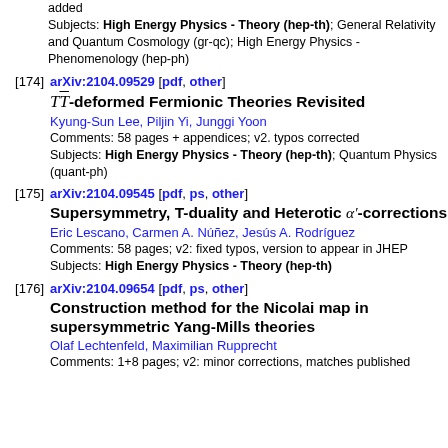added
Subjects: High Energy Physics - Theory (hep-th); General Relativity and Quantum Cosmology (gr-qc); High Energy Physics - Phenomenology (hep-ph)
[174] arXiv:2104.09529 [pdf, other]
TT-bar-deformed Fermionic Theories Revisited
Kyung-Sun Lee, Piljin Yi, Junggi Yoon
Comments: 58 pages + appendices; v2. typos corrected
Subjects: High Energy Physics - Theory (hep-th); Quantum Physics (quant-ph)
[175] arXiv:2104.09545 [pdf, ps, other]
Supersymmetry, T-duality and Heterotic alpha'-corrections
Eric Lescano, Carmen A. Núñez, Jesús A. Rodríguez
Comments: 58 pages; v2: fixed typos, version to appear in JHEP
Subjects: High Energy Physics - Theory (hep-th)
[176] arXiv:2104.09654 [pdf, ps, other]
Construction method for the Nicolai map in supersymmetric Yang-Mills theories
Olaf Lechtenfeld, Maximilian Rupprecht
Comments: 1+8 pages; v2: minor corrections, matches published